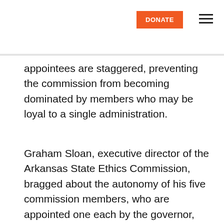DONATE ≡
appointees are staggered, preventing the commission from becoming dominated by members who may be loyal to a single administration.
Graham Sloan, executive director of the Arkansas State Ethics Commission, bragged about the autonomy of his five commission members, who are appointed one each by the governor, lieutenant governor, attorney general, speaker of the house, and senate president pro tem. “I don’t think any of the commissioners base their decisions on who appointed them,” Sloan said,